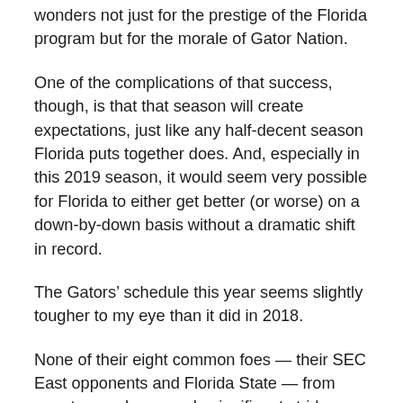wonders not just for the prestige of the Florida program but for the morale of Gator Nation.
One of the complications of that success, though, is that that season will create expectations, just like any half-decent season Florida puts together does. And, especially in this 2019 season, it would seem very possible for Florida to either get better (or worse) on a down-by-down basis without a dramatic shift in record.
The Gators’ schedule this year seems slightly tougher to my eye than it did in 2018.
None of their eight common foes — their SEC East opponents and Florida State — from year to year have made significant strides or slips from where they were a year ago, but Florida swaps home games against